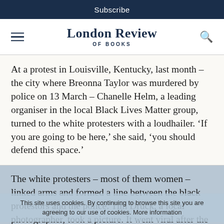Subscribe
London Review of Books
At a protest in Louisville, Kentucky, last month – the city where Breonna Taylor was murdered by police on 13 March – Chanelle Helm, a leading organiser in the local Black Lives Matter group, turned to the white protesters with a loudhailer. ‘If you are going to be here,’ she said, ‘you should defend this space.’
The white protesters – most of them women – linked arms and formed a line between the black protestors and the police. Tim Druck, a local photographer, took a picture. It went viral after the Kentucky National Organisation for Women and other groups shared it on social media.
This site uses cookies. By continuing to browse this site you are agreeing to our use of cookies. More information